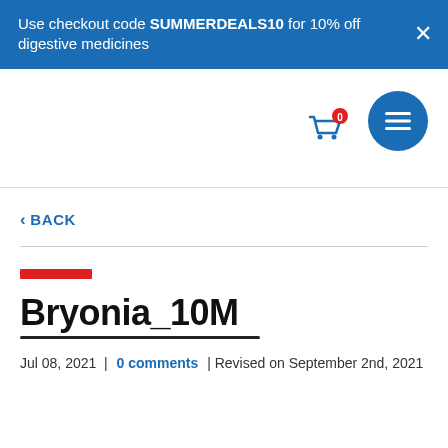Use checkout code SUMMERDEALS10 for 10% off digestive medicines
[Figure (screenshot): Navigation bar with shopping cart icon showing 0 items and a blue circular menu button with three horizontal lines]
< BACK
Bryonia_10M
Jul 08, 2021 | 0 comments | Revised on September 2nd, 2021